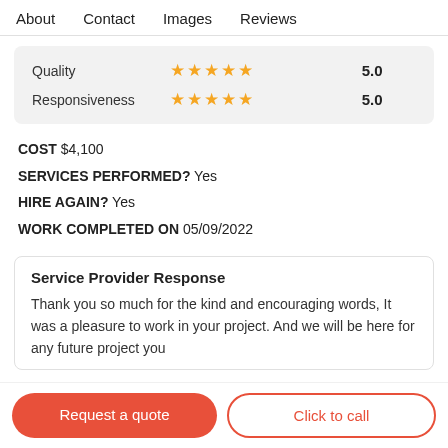About   Contact   Images   Reviews
| Category | Stars | Score |
| --- | --- | --- |
| Quality | ★★★★★ | 5.0 |
| Responsiveness | ★★★★★ | 5.0 |
COST $4,100
SERVICES PERFORMED? Yes
HIRE AGAIN? Yes
WORK COMPLETED ON 05/09/2022
Service Provider Response
Thank you so much for the kind and encouraging words, It was a pleasure to work in your project. And we will be here for any future project you